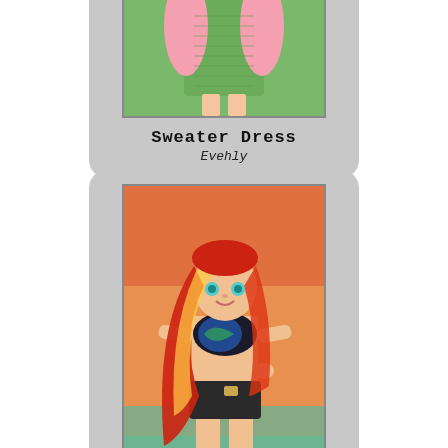[Figure (illustration): Card showing an illustrated anime-style character in a sweater dress against a green background, partially cropped at top. Title: Sweater Dress, Artist: Evehly]
Sweater Dress
Evehly
[Figure (illustration): Card showing an illustrated anime-style character with red and yellow hair wearing a dark bikini top and dark shorts, standing on a beach with orange sky background. Title: Summery Sunset, Artist: zelc-face]
Summery Sunset
zelc-face